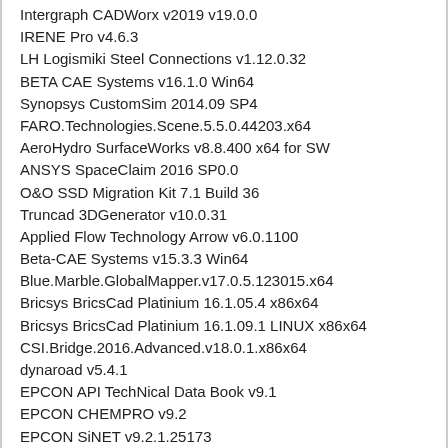Intergraph CADWorx v2019 v19.0.0
IRENE Pro v4.6.3
LH Logismiki Steel Connections v1.12.0.32
BETA CAE Systems v16.1.0 Win64
Synopsys CustomSim 2014.09 SP4
FARO.Technologies.Scene.5.5.0.44203.x64
AeroHydro SurfaceWorks v8.8.400 x64 for SW
ANSYS SpaceClaim 2016 SP0.0
O&O SSD Migration Kit 7.1 Build 36
Truncad 3DGenerator v10.0.31
Applied Flow Technology Arrow v6.0.1100
Beta-CAE Systems v15.3.3 Win64
Blue.Marble.GlobalMapper.v17.0.5.123015.x64
Bricsys BricsCad Platinium 16.1.05.4 x86x64
Bricsys BricsCad Platinium 16.1.09.1 LINUX x86x64
CSI.Bridge.2016.Advanced.v18.0.1.x86x64
dynaroad v5.4.1
EPCON API TechNical Data Book v9.1
EPCON CHEMPRO v9.2
EPCON SiNET v9.2.1.25173
GeoIPAS v3.1
Emeraude v5.4